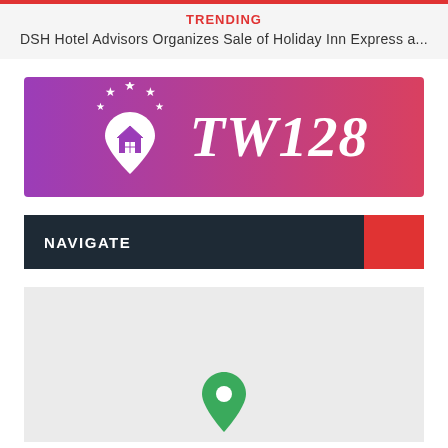TRENDING
DSH Hotel Advisors Organizes Sale of Holiday Inn Express a...
[Figure (logo): TW128 logo with house/location pin icon with stars on a purple-to-pink gradient background]
NAVIGATE
[Figure (map): Map placeholder with a green location marker icon at the bottom center]